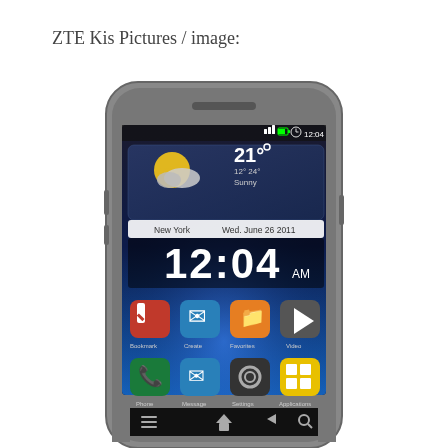ZTE Kis Pictures / image:
[Figure (photo): ZTE Kis Android smartphone showing home screen with weather widget (21° Sunny, New York, Wed. June 26 2011), clock showing 12:04 AM, and app icons for Bookmark, Create, Favorites, Video, Phone, Message, Settings, Applications. Phone has gray/dark body with rounded corners.]